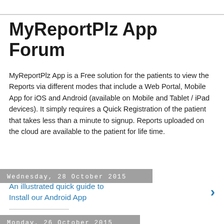MyReportPlz App Forum
MyReportPlz App is a Free solution for the patients to view the Reports via different modes that include a Web Portal, Mobile App for iOS and Android (available on Mobile and Tablet / iPad devices). It simply requires a Quick Registration of the patient that takes less than a minute to signup. Reports uploaded on the cloud are available to the patient for life time.
Wednesday, 28 October 2015
An illustrated quick guide to Install our Android App
Monday, 26 October 2015
MyReportPlz Search Keywords